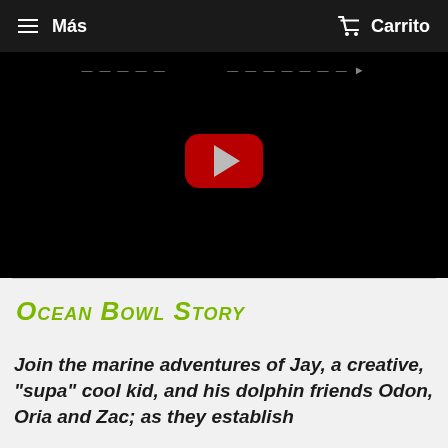≡  Más    🛒  Carrito
[Figure (screenshot): YouTube video player with black background showing a play button (red rounded rectangle with grey triangle). Title text partially visible at top.]
Ocean Bowl Story
Join the marine adventures of Jay, a creative, "supa" cool kid, and his dolphin friends Odon, Oria and Zac; as they establish